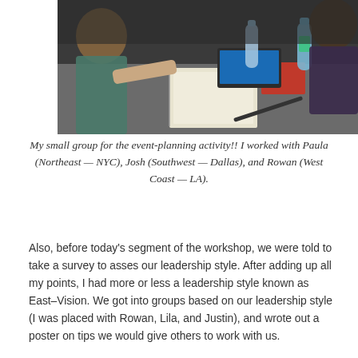[Figure (photo): Photo of people sitting around a table at a workshop, with notebooks, laptops, and water bottles on the table.]
My small group for the event-planning activity!! I worked with Paula (Northeast — NYC), Josh (Southwest — Dallas), and Rowan (West Coast — LA).
Also, before today's segment of the workshop, we were told to take a survey to asses our leadership style. After adding up all my points, I had more or less a leadership style known as East–Vision. We got into groups based on our leadership style (I was placed with Rowan, Lila, and Justin), and wrote out a poster on tips we would give others to work with us.